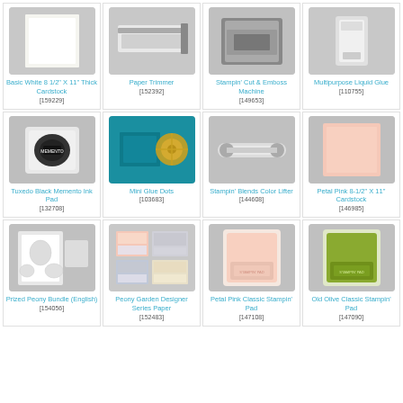[Figure (photo): Basic White 8 1/2" X 11" Thick Cardstock product image]
Basic White 8 1/2" X 11" Thick Cardstock [159229]
[Figure (photo): Paper Trimmer product image]
Paper Trimmer [152392]
[Figure (photo): Stampin' Cut & Emboss Machine product image]
Stampin' Cut & Emboss Machine [149653]
[Figure (photo): Multipurpose Liquid Glue product image]
Multipurpose Liquid Glue [110755]
[Figure (photo): Tuxedo Black Memento Ink Pad product image]
Tuxedo Black Memento Ink Pad [132708]
[Figure (photo): Mini Glue Dots product image]
Mini Glue Dots [103683]
[Figure (photo): Stampin' Blends Color Lifter product image]
Stampin' Blends Color Lifter [144608]
[Figure (photo): Petal Pink 8-1/2" X 11" Cardstock product image]
Petal Pink 8-1/2" X 11" Cardstock [146985]
[Figure (photo): Prized Peony Bundle (English) product image]
Prized Peony Bundle (English) [154056]
[Figure (photo): Peony Garden Designer Series Paper product image]
Peony Garden Designer Series Paper [152483]
[Figure (photo): Petal Pink Classic Stampin' Pad product image]
Petal Pink Classic Stampin' Pad [147108]
[Figure (photo): Old Olive Classic Stampin' Pad product image]
Old Olive Classic Stampin' Pad [147090]